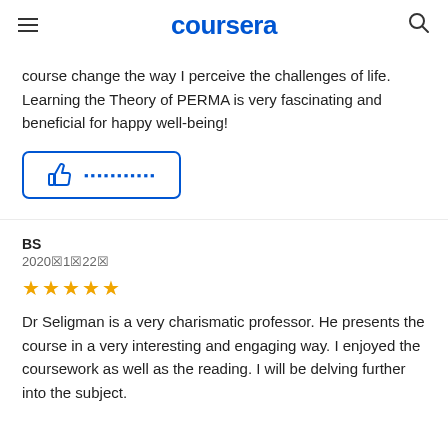coursera
course change the way I perceive the challenges of life. Learning the Theory of PERMA is very fascinating and beneficial for happy well-being!
👍 [Helpful button]
BS
2020年1月22日
★★★★★
Dr Seligman is a very charismatic professor. He presents the course in a very interesting and engaging way. I enjoyed the coursework as well as the reading. I will be delving further into the subject.